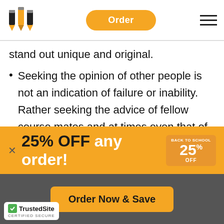Order
stand out unique and original.
Seeking the opinion of other people is not an indication of failure or inability. Rather seeking the advice of fellow course mates and at times even that of the teachers will help one make some informed choice of the topic of study. It pays to brainstorm the research topics
[Figure (infographic): Orange promotional banner: 25% OFF any order! with Back to School 25% OFF badge]
[Figure (infographic): Bottom section with Order Now & Save button and TrustedSite certified secure badge]